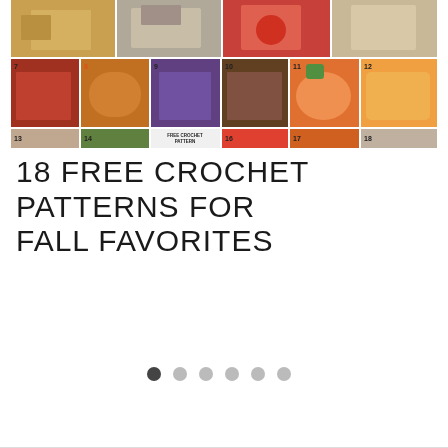[Figure (photo): Collage of 18 numbered images showing fall-themed crochet patterns including scarves, hats, pumpkins, shawls, and home decor items arranged in a 3-row grid]
18 FREE CROCHET PATTERNS FOR FALL FAVORITES
[Figure (other): Pagination dots: 6 dots with the first one filled dark and remaining 5 in light gray]